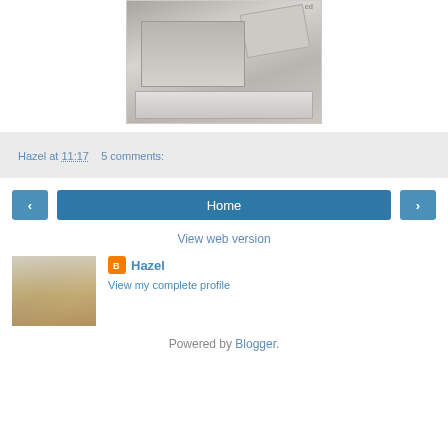[Figure (photo): Photo of grey cardstock/paper cards and a metal or plastic tray on a carpeted surface]
Hazel at 11:17    5 comments:
[Figure (other): Navigation buttons: left arrow, Home, right arrow]
View web version
[Figure (photo): Profile photo of Hazel, a woman in a striped sweater in a craft room]
Hazel
View my complete profile
Powered by Blogger.